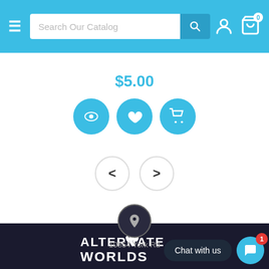Search Our Catalog
$5.00
[Figure (screenshot): Three circular blue buttons: eye/view icon, heart/wishlist icon, shopping cart icon]
[Figure (screenshot): Navigation previous (<) and next (>) arrow buttons in circular outlines]
[Figure (logo): Alternate Worlds logo in white text on dark background with rocket/arrow icon]
10854 York Rd
Chat with us